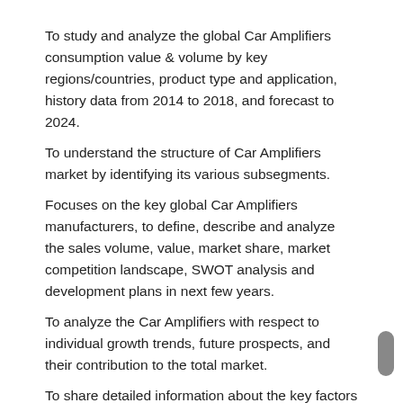To study and analyze the global Car Amplifiers consumption value & volume by key regions/countries, product type and application, history data from 2014 to 2018, and forecast to 2024.
To understand the structure of Car Amplifiers market by identifying its various subsegments.
Focuses on the key global Car Amplifiers manufacturers, to define, describe and analyze the sales volume, value, market share, market competition landscape, SWOT analysis and development plans in next few years.
To analyze the Car Amplifiers with respect to individual growth trends, future prospects, and their contribution to the total market.
To share detailed information about the key factors influencing the growth of the market growth potential, opportunities, drivers, industry-specific challenges and risks .
To project the consumption of Car Amplifiers submarkets, with